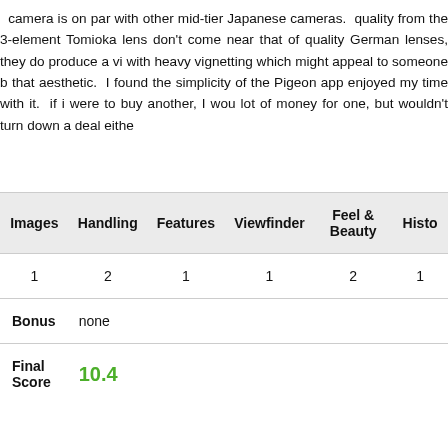camera is on par with other mid-tier Japanese cameras. quality from the 3-element Tomioka lens don't come near that of quality German lenses, they do produce a vi with heavy vignetting which might appeal to someone b that aesthetic. I found the simplicity of the Pigeon app enjoyed my time with it. if i were to buy another, I wou lot of money for one, but wouldn't turn down a deal eithe
| Images | Handling | Features | Viewfinder | Feel & Beauty | Histo |
| --- | --- | --- | --- | --- | --- |
| 1 | 2 | 1 | 1 | 2 | 1 |
| Bonus | none |  |  |  |  |
| Final Score | 10.4 |  |  |  |  |